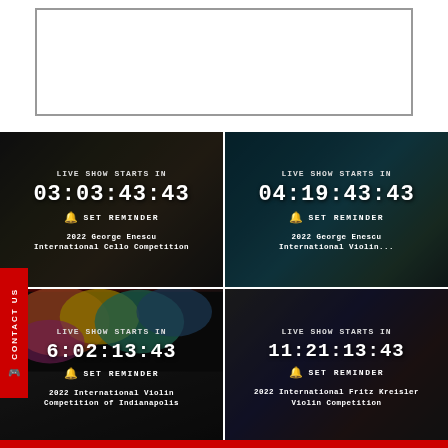[Figure (screenshot): White box placeholder at top of page]
[Figure (screenshot): Live show countdown card: 2022 George Enescu International Cello Competition, countdown 03:03:43:43]
[Figure (screenshot): Live show countdown card: 2022 George Enescu International Violin..., countdown 04:19:43:43]
[Figure (screenshot): Live show countdown card: 2022 International Violin Competition of Indianapolis, countdown 6:02:13:43]
[Figure (screenshot): Live show countdown card: 2022 International Fritz Kreisler Violin Competition, countdown 11:21:13:43]
CONTACT US